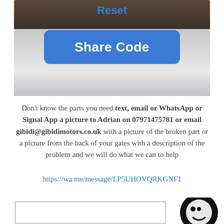[Figure (photo): A photo of a smartphone screen showing a blue button labeled 'Share Code' in white bold text, with a dark background frame around the phone.]
Don't know the parts you need text, email or WhatsApp or Signal App a picture to Adrian on 07971475781 or email gibidi@gibidimotors.co.uk with a picture of the broken part or a picture from the back of your gates with a description of the problem and we will do what we can to help
https://wa.me/message/LP5UHOVQRKGNF1
[Figure (photo): Bottom portion of page showing a partially visible bordered box/form area on the left, and a large black smiley/emoji face icon on the right side.]